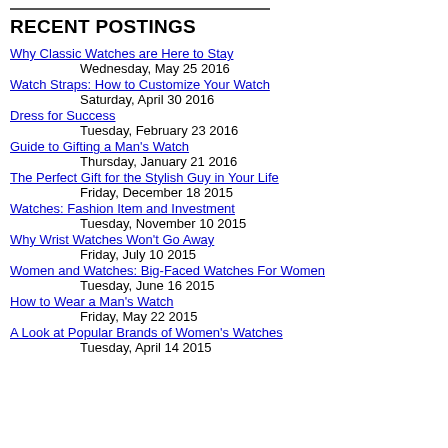RECENT POSTINGS
Why Classic Watches are Here to Stay
Wednesday, May 25 2016
Watch Straps: How to Customize Your Watch
Saturday, April 30 2016
Dress for Success
Tuesday, February 23 2016
Guide to Gifting a Man's Watch
Thursday, January 21 2016
The Perfect Gift for the Stylish Guy in Your Life
Friday, December 18 2015
Watches: Fashion Item and Investment
Tuesday, November 10 2015
Why Wrist Watches Won't Go Away
Friday, July 10 2015
Women and Watches: Big-Faced Watches For Women
Tuesday, June 16 2015
How to Wear a Man's Watch
Friday, May 22 2015
A Look at Popular Brands of Women's Watches
Tuesday, April 14 2015